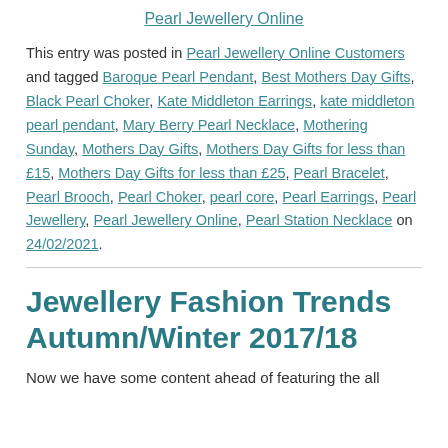Pearl Jewellery Online
This entry was posted in Pearl Jewellery Online Customers and tagged Baroque Pearl Pendant, Best Mothers Day Gifts, Black Pearl Choker, Kate Middleton Earrings, kate middleton pearl pendant, Mary Berry Pearl Necklace, Mothering Sunday, Mothers Day Gifts, Mothers Day Gifts for less than £15, Mothers Day Gifts for less than £25, Pearl Bracelet, Pearl Brooch, Pearl Choker, pearl core, Pearl Earrings, Pearl Jewellery, Pearl Jewellery Online, Pearl Station Necklace on 24/02/2021.
Jewellery Fashion Trends Autumn/Winter 2017/18
Now we have some content ahead of featuring the all...